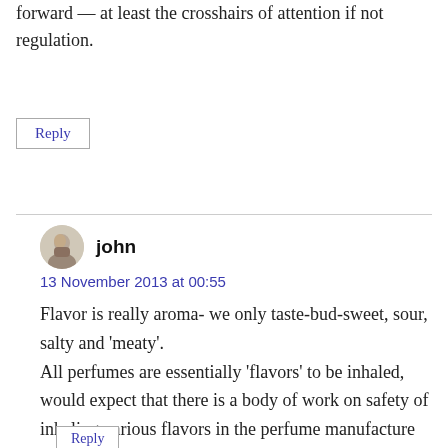forward — at least the crosshairs of attention if not regulation.
Reply
john
13 November 2013 at 00:55
Flavor is really aroma- we only taste-bud-sweet, sour, salty and ‘meaty’.
All perfumes are essentially ‘flavors’ to be inhaled, would expect that there is a body of work on safety of inhaling various flavors in the perfume manufacture OH&S rule book.